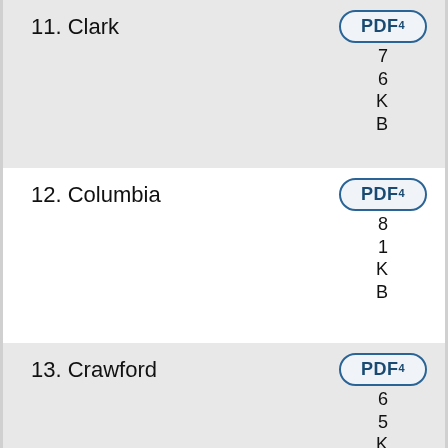11. Clark PDF 76KB
12. Columbia PDF 481KB
13. Crawford PDF 65KB
14. Dane PDF